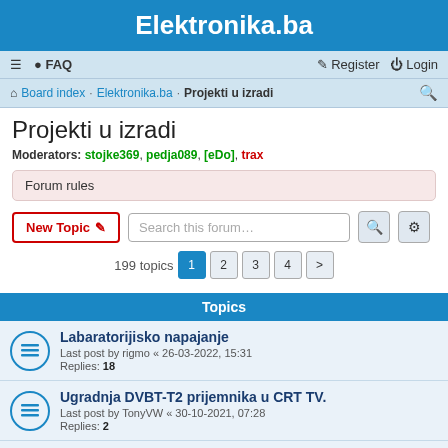Elektronika.ba
≡  FAQ   Register  Login
Board index · Elektronika.ba · Projekti u izradi
Projekti u izradi
Moderators: stojke369, pedja089, [eDo], trax
Forum rules
New Topic  Search this forum…
199 topics  1  2  3  4  >
Topics
Labaratorijisko napajanje
Last post by rigmo « 26-03-2022, 15:31
Replies: 18
Ugradnja DVBT-T2 prijemnika u CRT TV.
Last post by TonyVW « 30-10-2021, 07:28
Replies: 2
6kW PWM motor driver
Last post by Black « 03-08-2021, 23:04
Replies: 7